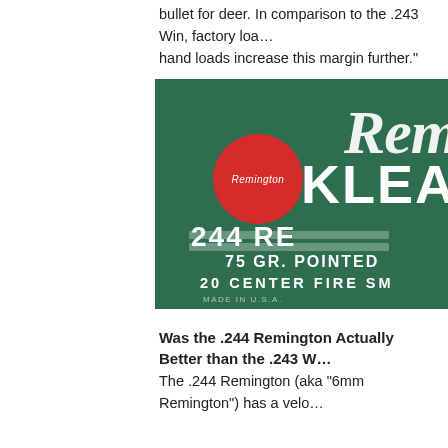bullet for deer. In comparison to the .243 Win, factory loa... hand loads increase this margin further."
[Figure (photo): Vintage Remington Kleanbore 244 Remington ammunition box, green with red Remington circle logo, showing '75 GR. POINTED' and '20 CENTER FIRE SM...' text, MADE IN U.S.A.]
Was the .244 Remington Actually Better than the .243 W...
The .244 Remington (aka "6mm Remington") has a velo...